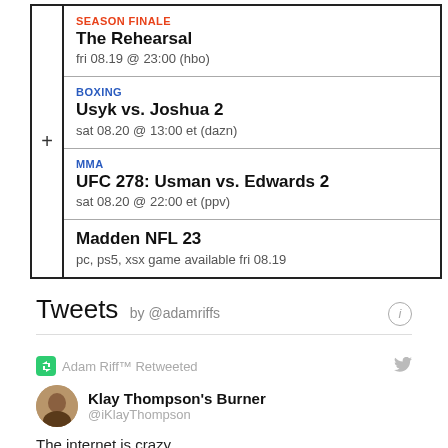| SEASON FINALE | The Rehearsal | fri 08.19 @ 23:00 (hbo) |
| BOXING | Usyk vs. Joshua 2 | sat 08.20 @ 13:00 et (dazn) |
| MMA | UFC 278: Usman vs. Edwards 2 | sat 08.20 @ 22:00 et (ppv) |
|  | Madden NFL 23 | pc, ps5, xsx game available fri 08.19 |
Tweets by @adamriffs
Adam Riff™ Retweeted
Klay Thompson's Burner @iKlayThompson
The internet is crazy